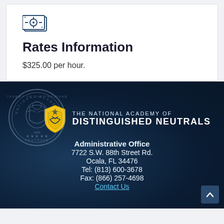[Figure (illustration): Icon of a stack of money/bills with a circle in the center, drawn in a simple outline style]
Rates Information
$325.00 per hour.
The National Academy of Distinguished Neutralals — Administrative Office, 7722 S.W. 88th Street Rd., Ocala, FL 34476, Tel: (813) 600-3678, Fax: (866) 257-4698, Contact Us